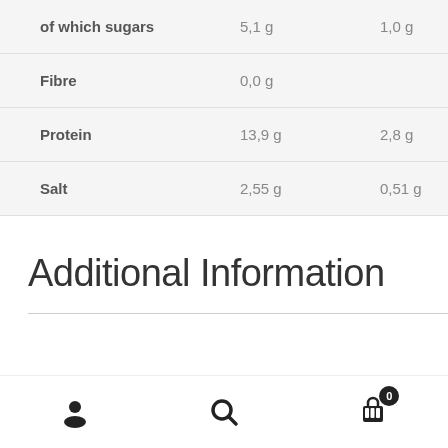|  |  |  |
| --- | --- | --- |
| of which sugars | 5,1 g | 1,0 g |
| Fibre | 0,0 g |  |
| Protein | 13,9 g | 2,8 g |
| Salt | 2,55 g | 0,51 g |
Additional Information